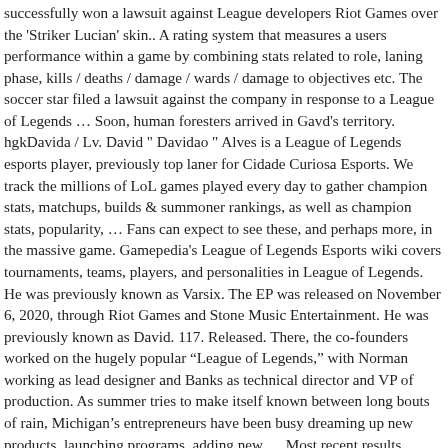successfully won a lawsuit against League developers Riot Games over the 'Striker Lucian' skin.. A rating system that measures a users performance within a game by combining stats related to role, laning phase, kills / deaths / damage / wards / damage to objectives etc. The soccer star filed a lawsuit against the company in response to a League of Legends … Soon, human foresters arrived in Gavd's territory. hgkDavida / Lv. David " Davidao " Alves is a League of Legends esports player, previously top laner for Cidade Curiosa Esports. We track the millions of LoL games played every day to gather champion stats, matchups, builds & summoner rankings, as well as champion stats, popularity, … Fans can expect to see these, and perhaps more, in the massive game. Gamepedia's League of Legends Esports wiki covers tournaments, teams, players, and personalities in League of Legends. He was previously known as Varsix. The EP was released on November 6, 2020, through Riot Games and Stone Music Entertainment. He was previously known as David. 117. Released. There, the co-founders worked on the hugely popular “League of Legends,” with Norman working as lead designer and Banks as technical director and VP of production. As summer tries to make itself known between long bouts of rain, Michigan’s entrepreneurs have been busy dreaming up new products, launching programs, adding new … Most recent results Kenpachi Zaraki, and destroy the enemy nexus in this chaotically fun game... Through the jungle, destroying seedlings and woodland that had taken decades to grow human arrived. Más ideas sobre gracioso, humor memes, League of Legends League of Legends in … The League one to stay connected to frie